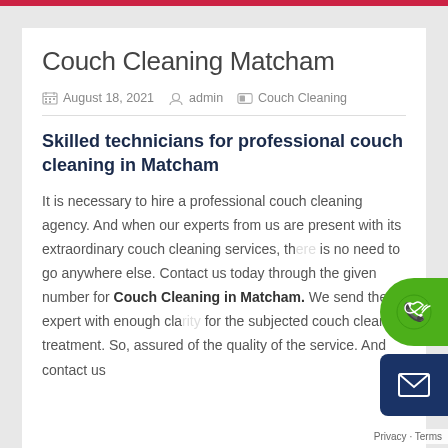Couch Cleaning Matcham
August 18, 2021 · admin · Couch Cleaning
Skilled technicians for professional couch cleaning in Matcham
It is necessary to hire a professional couch cleaning agency. And when our experts from us are present with its extraordinary couch cleaning services, there is no need to go anywhere else. Contact us today through the given number for Couch Cleaning in Matcham. We send the expert with enough clarity for the subjected couch cleaning treatment. So, assured of the quality of the service. And contact us